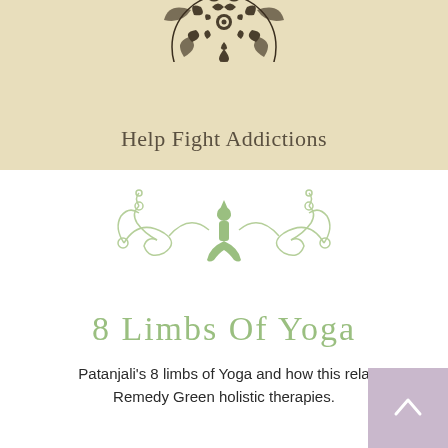[Figure (illustration): Partial mandala decorative illustration in dark brown at top center, cropped at top]
Help Fight Addictions
[Figure (illustration): Green yoga figure in tree pose with decorative swirling flourishes on either side]
8 Limbs Of Yoga
Patanjali's 8 limbs of Yoga and how this rela Remedy Green holistic therapies.